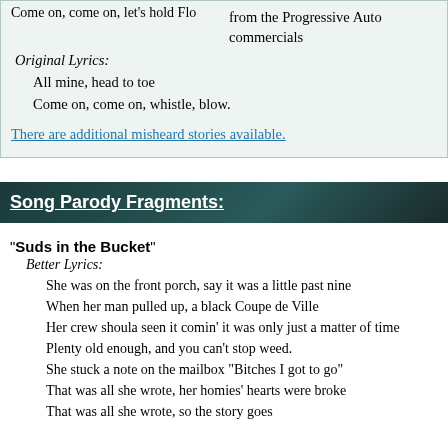Come on, come on, let's hold Flo
from the Progressive Auto commercials
Original Lyrics:
All mine, head to toe
Come on, come on, whistle, blow.
There are additional misheard stories available.
Song Parody Fragments:
"Suds in the Bucket"
Better Lyrics:
She was on the front porch, say it was a little past nine
When her man pulled up, a black Coupe de Ville
Her crew shoula seen it comin' it was only just a matter of time
Plenty old enough, and you can't stop weed.
She stuck a note on the mailbox "Bitches I got to go"
That was all she wrote, her homies' hearts were broke
That was all she wrote, so the story goes